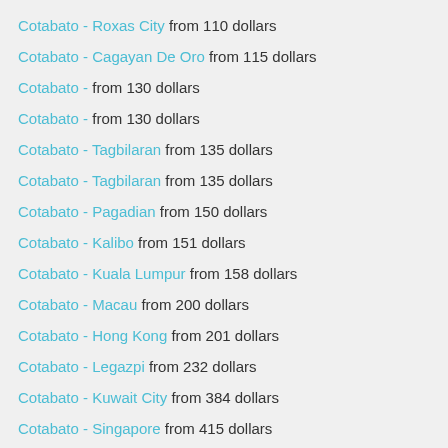Cotabato - Roxas City from 110 dollars
Cotabato - Cagayan De Oro from 115 dollars
Cotabato - from 130 dollars
Cotabato - from 130 dollars
Cotabato - Tagbilaran from 135 dollars
Cotabato - Tagbilaran from 135 dollars
Cotabato - Pagadian from 150 dollars
Cotabato - Kalibo from 151 dollars
Cotabato - Kuala Lumpur from 158 dollars
Cotabato - Macau from 200 dollars
Cotabato - Hong Kong from 201 dollars
Cotabato - Legazpi from 232 dollars
Cotabato - Kuwait City from 384 dollars
Cotabato - Singapore from 415 dollars
Cotabato - Karachi from 424 dollars
Cotabato - Islamabad from 514 dollars
Cotabato - Dubai from 514 dollars